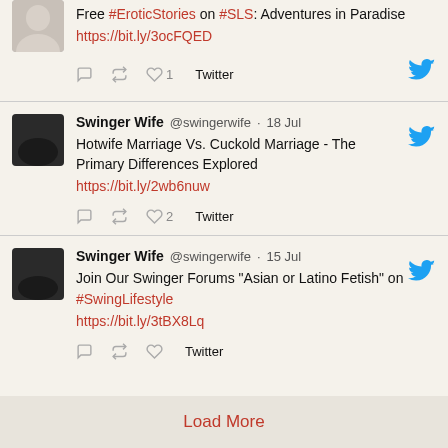Free #EroticStories on #SLS: Adventures in Paradise https://bit.ly/3ocFQED
Swinger Wife @swingerwife · 18 Jul
Hotwife Marriage Vs. Cuckold Marriage - The Primary Differences Explored
https://bit.ly/2wb6nuw
Swinger Wife @swingerwife · 15 Jul
Join Our Swinger Forums "Asian or Latino Fetish" on
#SwingLifestyle
https://bit.ly/3tBX8Lq
Load More